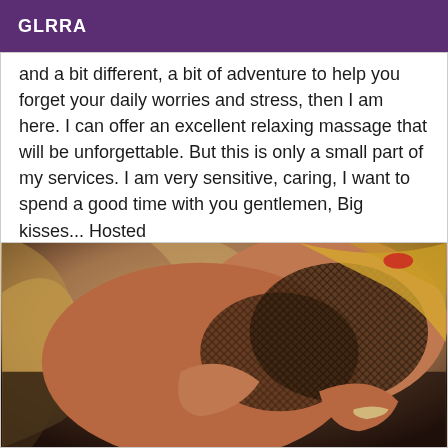GLRRA
and a bit different, a bit of adventure to help you forget your daily worries and stress, then I am here. I can offer an excellent relaxing massage that will be unforgettable. But this is only a small part of my services. I am very sensitive, caring, I want to spend a good time with you gentlemen, Big kisses... Hosted
[Figure (photo): Photo of a blonde woman wearing a fishnet top, posed in a reclining position against a decorative background with warm golden tones.]